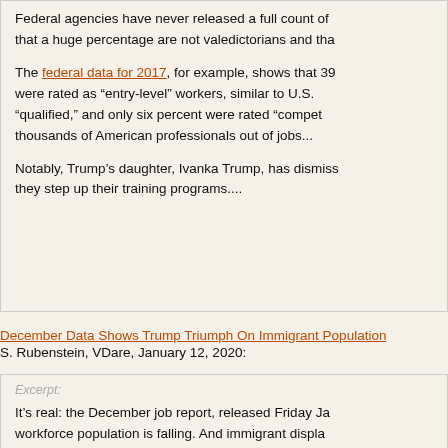Federal agencies have never released a full count of that a huge percentage are not valedictorians and tha
The federal data for 2017, for example, shows that 39 were rated as “entry-level” workers, similar to U.S. “qualified,” and only six percent were rated “compet thousands of American professionals out of jobs...
Notably, Trump’s daughter, Ivanka Trump, has dismiss they step up their training programs....
December Data Shows Trump Triumph On Immigrant Population
S. Rubenstein, VDare, January 12, 2020:
Excerpt:
It’s real: the December job report, released Friday Ja workforce population is falling. And immigrant displa